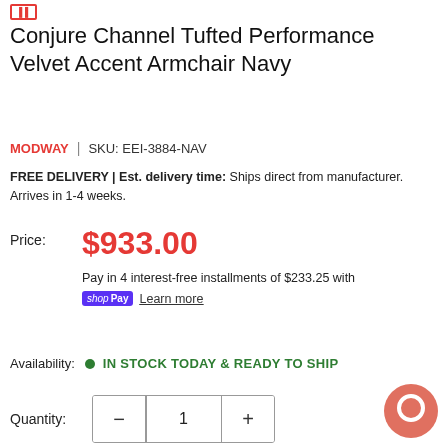[badge/logo top left]
Conjure Channel Tufted Performance Velvet Accent Armchair Navy
MODWAY | SKU: EEI-3884-NAV
FREE DELIVERY | Est. delivery time: Ships direct from manufacturer. Arrives in 1-4 weeks.
Price: $933.00
Pay in 4 interest-free installments of $233.25 with shopPay Learn more
Availability: IN STOCK TODAY & READY TO SHIP
Quantity: 1